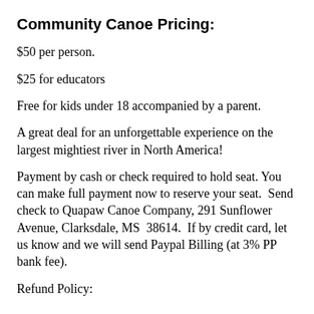Community Canoe Pricing:
$50 per person.
$25 for educators
Free for kids under 18 accompanied by a parent.
A great deal for an unforgettable experience on the largest mightiest river in North America!
Payment by cash or check required to hold seat. You can make full payment now to reserve your seat. Send check to Quapaw Canoe Company, 291 Sunflower Avenue, Clarksdale, MS 38614. If by credit card, let us know and we will send Paypal Billing (at 3% PP bank fee).
Refund Policy: